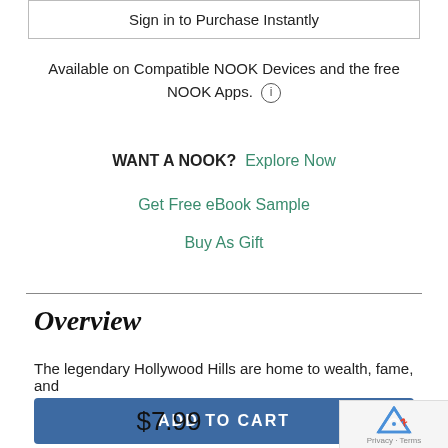Sign in to Purchase Instantly
Available on Compatible NOOK Devices and the free NOOK Apps.
WANT A NOOK?  Explore Now
Get Free eBook Sample
Buy As Gift
Overview
The legendary Hollywood Hills are home to wealth, fame, and
ADD TO CART
$7.99